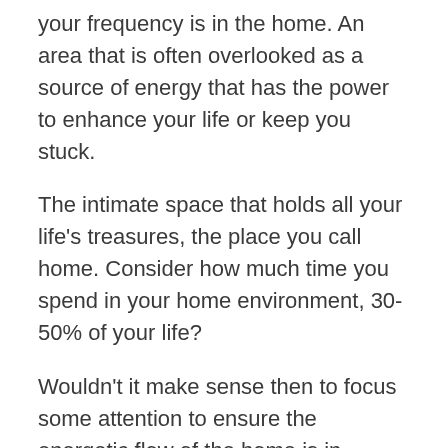your frequency is in the home. An area that is often overlooked as a source of energy that has the power to enhance your life or keep you stuck.
The intimate space that holds all your life's treasures, the place you call home. Consider how much time you spend in your home environment, 30-50% of your life?
Wouldn't it make sense then to focus some attention to ensure the energetic flow of the home is in alignment with your deepest desires?